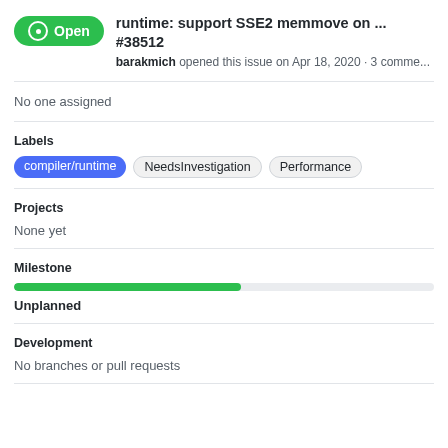runtime: support SSE2 memmove on ... #38512
barakmich opened this issue on Apr 18, 2020 · 3 comme...
No one assigned
Labels
compiler/runtime
NeedsInvestigation
Performance
Projects
None yet
Milestone
[Figure (other): Progress bar approximately 54% filled in green]
Unplanned
Development
No branches or pull requests